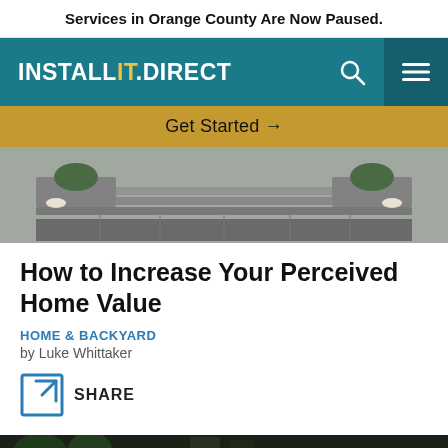Services in Orange County Are Now Paused.
[Figure (screenshot): InstallItDirect website navigation bar with teal background, logo on left, search and menu icons on right]
Get Started →
[Figure (photo): Outdoor stone steps and pavers with planters containing shrubs and flowers, black and white toned]
How to Increase Your Perceived Home Value
HOME & BACKYARD
by Luke Whittaker
SHARE
[Figure (photo): Outdoor home exterior photo at bottom of page, dark tones with trees and stone wall visible]